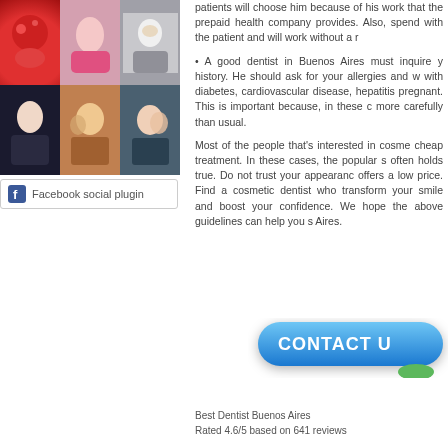[Figure (photo): Facebook social plugin photo grid with 6 photos in a 3x2 grid]
Facebook social plugin
patients will choose him because of his work that the prepaid health company provides. Also, spend with the patient and will work without a r
• A good dentist in Buenos Aires must inquire y history. He should ask for your allergies and w with diabetes, cardiovascular disease, hepatitis pregnant. This is important because, in these c more carefully than usual.
Most of the people that's interested in cosme cheap treatment. In these cases, the popular s often holds true. Do not trust your appearanc offers a low price. Find a cosmetic dentist who transform your smile and boost your confidence. We hope the above guidelines can help you s Aires.
[Figure (other): CONTACT button in blue with green accent]
Best Dentist Buenos Aires
Rated 4.6/5 based on 641 reviews